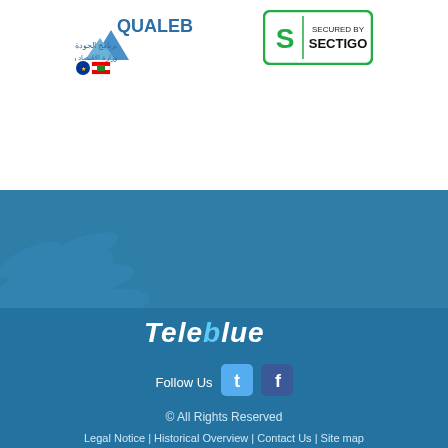[Figure (logo): QUALEB logo with Arabic text برنامج الجودة وزارة الاقتصاد و التجارة, with EU and Lebanese flag icons]
[Figure (logo): Secured by Sectigo badge with green border and S shield icon]
[Figure (illustration): Lebanese cedar tree watermark in blue tones on footer background]
[Figure (logo): TeleBlue stylized text logo in white italic font]
Follow Us
[Figure (logo): Twitter social media icon (light blue bird)]
[Figure (logo): Facebook social media icon (dark blue f)]
© All Rights Reserved
Legal Notice | Historical Overview | Contact Us | Site map